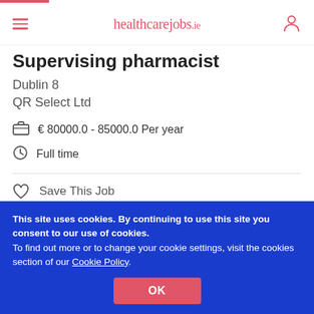healthcarejobs.ie
Supervising pharmacist
Dublin 8
QR Select Ltd
€ 80000.0 - 85000.0 Per year
Full time
Save This Job
This site uses cookies. By continuing to use this site you consent to our use of cookies. To find out more or to change your cookie settings, visit the cookies section of our Cookie Policy.